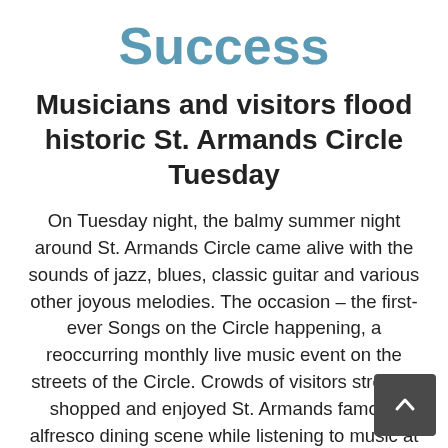Success
Musicians and visitors flood historic St. Armands Circle Tuesday
On Tuesday night, the balmy summer night around St. Armands Circle came alive with the sounds of jazz, blues, classic guitar and various other joyous melodies. The occasion – the first-ever Songs on the Circle happening, a reoccurring monthly live music event on the streets of the Circle. Crowds of visitors strolled, shopped and enjoyed St. Armands famous alfresco dining scene while listening to music at every turn. View photos from the night's event below and on our Facebook and Instagram pages.